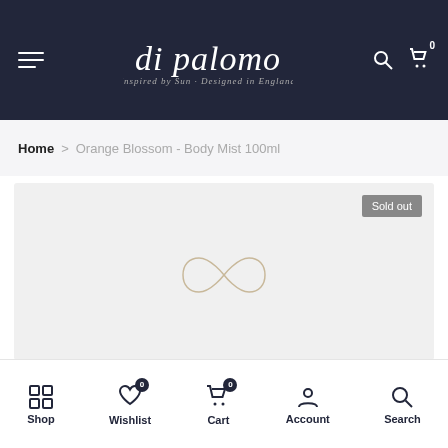di palomo — Inspired by Sun · Designed in England
Home > Orange Blossom - Body Mist 100ml
[Figure (screenshot): Product image area showing a loading/placeholder state with an infinity-style loading spinner icon in the center, and a 'Sold out' badge in the top right corner. Background is light gray.]
Shop | Wishlist (0) | Cart (0) | Account | Search